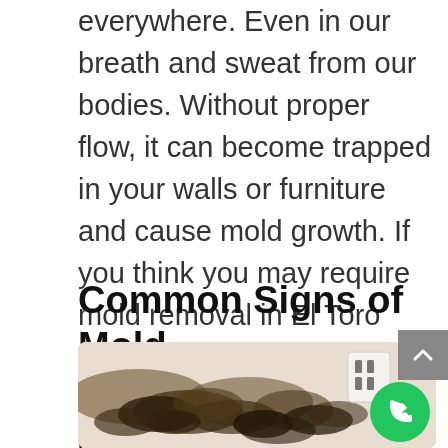everywhere. Even in our breath and sweat from our bodies. Without proper flow, it can become trapped in your walls or furniture and cause mold growth. If you think you may require mold removal in El Toro CA, call the experts at Anaheim Restoration Pros and we'll be happy to discuss the health of your home with you.
Common Signs of Mold
[Figure (photo): Photo of severe mold growth on a white wall near an electrical outlet. The mold appears as dark brown and black patches spreading across the wall surface.]